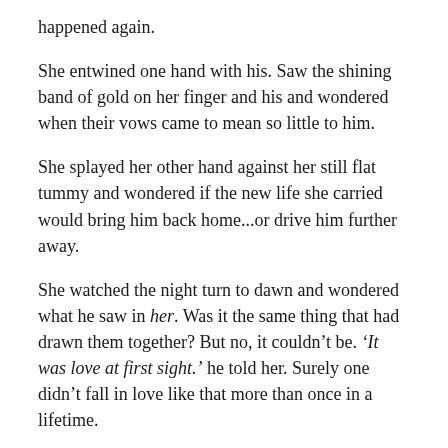happened again.
She entwined one hand with his. Saw the shining band of gold on her finger and his and wondered when their vows came to mean so little to him.
She splayed her other hand against her still flat tummy and wondered if the new life she carried would bring him back home...or drive him further away.
She watched the night turn to dawn and wondered what he saw in her. Was it the same thing that had drawn them together? But no, it couldn’t be. ‘It was love at first sight.’ he told her. Surely one didn’t fall in love like that more than once in a lifetime.
She wanted to ask him.
She never would.